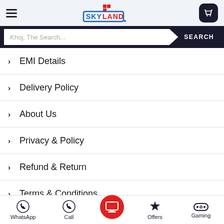[Figure (logo): Skyland logo with blue box, red grid icon on top, blue and red text]
Khoj, The Search...
> EMI Details
> Delivery Policy
> About Us
> Privacy & Policy
> Refund & Return
> Terms & Conditions
We're Open 10 AM - 08.00 PM
WhatsApp | Call | [TV icon] | Offers | Gaming